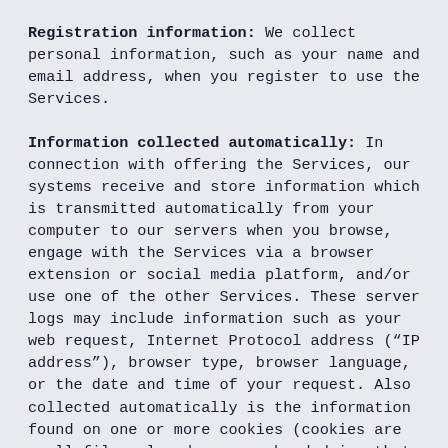Registration information: We collect personal information, such as your name and email address, when you register to use the Services.
Information collected automatically: In connection with offering the Services, our systems receive and store information which is transmitted automatically from your computer to our servers when you browse, engage with the Services via a browser extension or social media platform, and/or use one of the other Services. These server logs may include information such as your web request, Internet Protocol address (“IP address”), browser type, browser language, or the date and time of your request. Also collected automatically is the information found on one or more cookies (cookies are small files placed on your hard drive that assist us in providing our services) that may uniquely identify your browser, your IP address, and browser type. Your IP address is the unique address of your computer, which is automatically provided to other